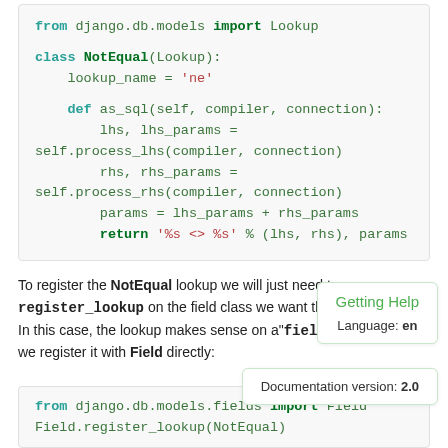[Figure (screenshot): Code block showing Python class NotEqual with as_sql method using Django ORM lookups]
To register the NotEqual lookup we will just need to register_lookup on the field class we want the lookup available. In this case, the lookup makes sense on a Field subclasses, so we register it with Field directly:
[Figure (screenshot): Getting Help panel with Language: en]
[Figure (screenshot): Documentation version: 2.0 panel]
[Figure (screenshot): Code block showing from django.db.models.fields import Field and Field.register_lookup(NotEqual)]